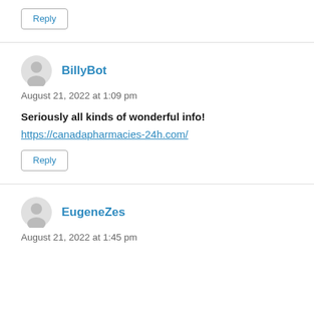Reply
BillyBot
August 21, 2022 at 1:09 pm
Seriously all kinds of wonderful info!
https://canadapharmacies-24h.com/
Reply
EugeneZes
August 21, 2022 at 1:45 pm